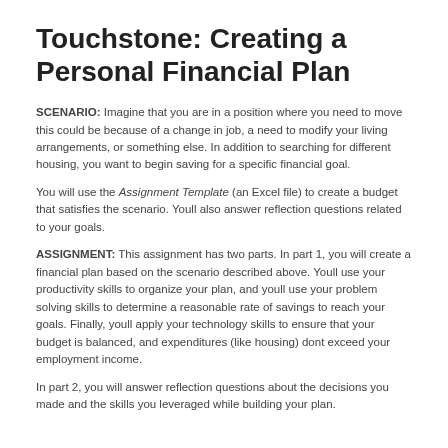Touchstone: Creating a Personal Financial Plan
SCENARIO: Imagine that you are in a position where you need to move this could be because of a change in job, a need to modify your living arrangements, or something else. In addition to searching for different housing, you want to begin saving for a specific financial goal.
You will use the Assignment Template (an Excel file) to create a budget that satisfies the scenario. Youll also answer reflection questions related to your goals.
ASSIGNMENT: This assignment has two parts. In part 1, you will create a financial plan based on the scenario described above. Youll use your productivity skills to organize your plan, and youll use your problem solving skills to determine a reasonable rate of savings to reach your goals. Finally, youll apply your technology skills to ensure that your budget is balanced, and expenditures (like housing) dont exceed your employment income.
In part 2, you will answer reflection questions about the decisions you made and the skills you leveraged while building your plan.